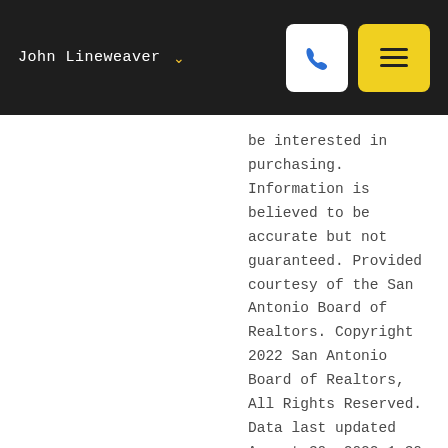John Lineweaver
be interested in purchasing. Information is believed to be accurate but not guaranteed. Provided courtesy of the San Antonio Board of Realtors. Copyright 2022 San Antonio Board of Realtors, All Rights Reserved. Data last updated August 30, 2022 1:30 AM UTC